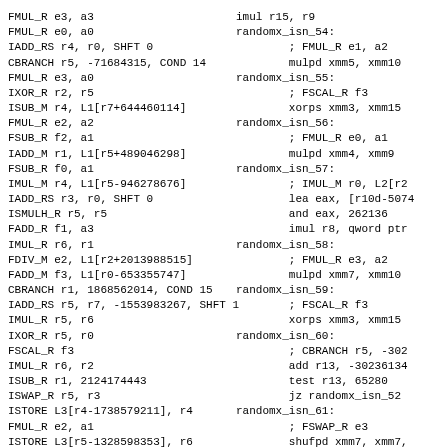FMUL_R e3, a3
FMUL_R e0, a0
IADD_RS r4, r0, SHFT 0
CBRANCH r5, -71684315, COND 14
FMUL_R e3, a0
IXOR_R r2, r5
ISUB_M r4, L1[r7+644460114]
FMUL_R e2, a2
FSUB_R f2, a1
IADD_M r1, L1[r5+489046298]
FSUB_R f0, a1
IMUL_M r4, L1[r5-946278676]
IADD_RS r3, r0, SHFT 0
ISMULH_R r5, r5
FADD_R f1, a3
IMUL_R r6, r1
FDIV_M e2, L1[r2+2013988515]
FADD_M f3, L1[r0-653355747]
CBRANCH r1, 1868562014, COND 15
IADD_RS r5, r7, -1553983267, SHFT 1
IMUL_R r5, r6
IXOR_R r5, r0
FSCAL_R f3
IMUL_R r6, r2
ISUB_R r1, 2124174443
ISWAP_R r5, r3
ISTORE L3[r4-1738579211], r4
FMUL_R e2, a1
ISTORE L3[r5-1328598353], r6
ISTORE L1[r7+835088279], r6
FSUB_R f3, a1
FMUL_R e0, a2
imul r15, r9
randomx_isn_54:
    ; FMUL_R e1, a2
    mulpd xmm5, xmm10
randomx_isn_55:
    ; FSCAL_R f3
    xorps xmm3, xmm15
randomx_isn_56:
    ; FMUL_R e0, a1
    mulpd xmm4, xmm9
randomx_isn_57:
    ; IMUL_M r0, L2[r2
    lea eax, [r10d-5074
    and eax, 262136
    imul r8, qword ptr
randomx_isn_58:
    ; FMUL_R e3, a2
    mulpd xmm7, xmm10
randomx_isn_59:
    ; FSCAL_R f3
    xorps xmm3, xmm15
randomx_isn_60:
    ; CBRANCH r5, -302
    add r13, -30236134
    test r13, 65280
    jz randomx_isn_52
randomx_isn_61:
    ; FSWAP_R e3
    shufpd xmm7, xmm7,
randomx_isn_62:
    ; IXOR_R r5, r4
    xor r13, r12